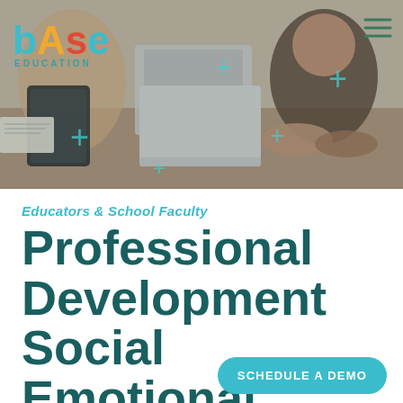[Figure (photo): Group of educators/professionals sitting around a table with laptops and tablets, collaborating. Teal plus signs overlaid on the image. BASE Education logo in top-left corner. Hamburger menu in top-right corner.]
Educators & School Faculty
Professional Development Social Emotional Learning Platform
SCHEDULE A DEMO